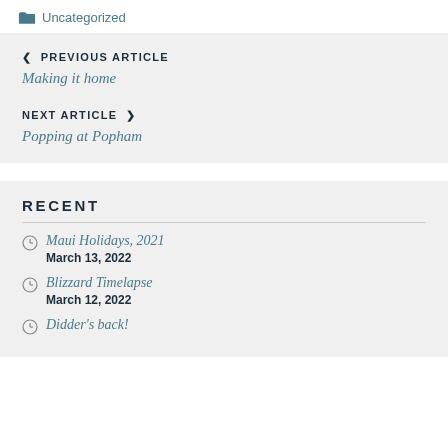Uncategorized
< PREVIOUS ARTICLE
Making it home
NEXT ARTICLE >
Popping at Popham
RECENT
Maui Holidays, 2021
March 13, 2022
Blizzard Timelapse
March 12, 2022
Didder's back!